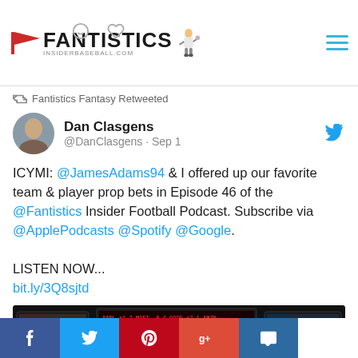Fantistics InsiderBaseball.com
Fantistics Fantasy Retweeted
Dan Clasgens @DanClasgens · Sep 1
ICYMI: @JamesAdams94 & I offered up our favorite team & player prop bets in Episode 46 of the @Fantistics Insider Football Podcast. Subscribe via @ApplePodcasts @Spotify @Google.

LISTEN NOW...
bit.ly/3Q8sjtd
[Figure (photo): Multiple TV screens showing sports data and news broadcasts in a dark broadcast studio setting.]
Facebook, Twitter, Pinterest, Google+, Comment share buttons